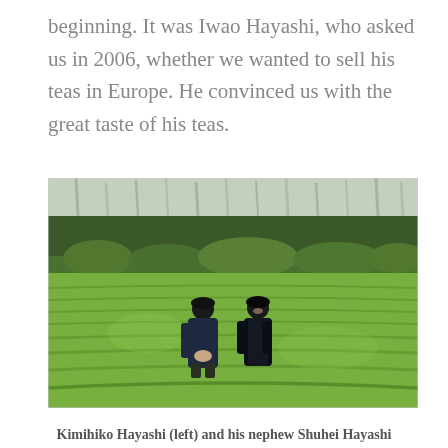beginning. It was Iwao Hayashi, who asked us in 2006, whether we wanted to sell his teas in Europe. He convinced us with the great taste of his teas.
[Figure (photo): Two men standing in a lush green tea field with tall trees and forest in the background. Both are wearing dark clothing. The tea plants form neat rows across the field.]
Kimihiko Hayashi (left) and his nephew Shuhei Hayashi